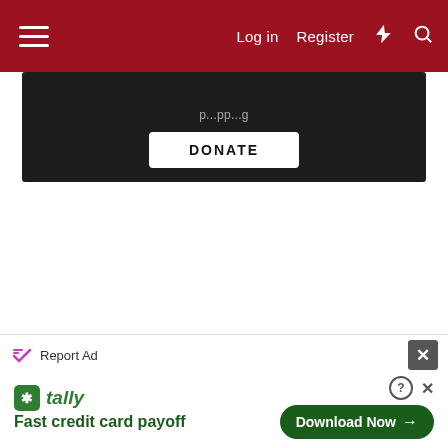☰  Log in  Register  ⚡  🔍
[Figure (screenshot): Dark banner with partial text visible and a DONATE button]
DONATE
[Figure (infographic): Advertisement banner: Report Ad with close button. Tally - Fast credit card payoff. Download Now button.]
Report Ad
tally Fast credit card payoff
Download Now →